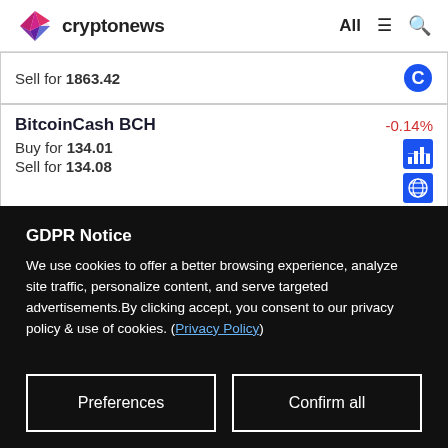cryptonews — All ☰ 🔍
Sell for 1863.42
BitcoinCash BCH -0.14%
Buy for 134.01
Sell for 134.08
EOS EOS -7.81%
GDPR Notice

We use cookies to offer a better browsing experience, analyze site traffic, personalize content, and serve targeted advertisements. By clicking accept, you consent to our privacy policy & use of cookies. (Privacy Policy)
Preferences | Confirm all